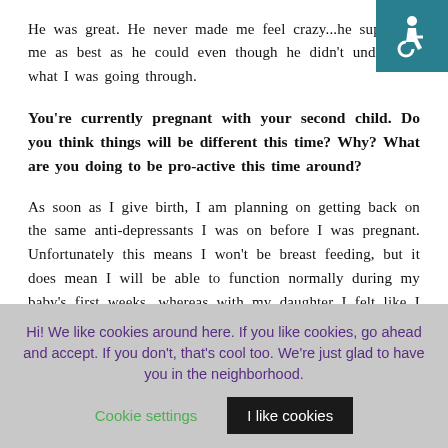[Figure (illustration): Accessibility icon — white wheelchair symbol on teal/dark cyan background, top-right corner]
He was great. He never made me feel crazy...he supported me as best as he could even though he didn't understand what I was going through.
You're currently pregnant with your second child. Do you think things will be different this time? Why? What are you doing to be pro-active this time around?
As soon as I give birth, I am planning on getting back on the same anti-depressants I was on before I was pregnant. Unfortunately this means I won't be breast feeding, but it does mean I will be able to function normally during my baby's first weeks, whereas with my daughter I felt like I was just in a depressed daze.
Hi! We like cookies around here. If you like cookies, go ahead and accept. If you don't, that's cool too. We're just glad to have you in the neighborhood.